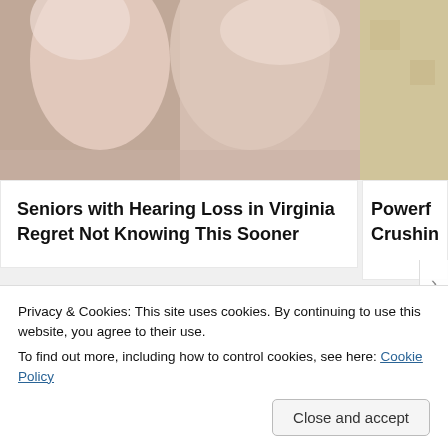[Figure (photo): Close-up photo of fingers/hands on a light surface, partially visible at top]
[Figure (photo): Partial image of sandy/beige textured surface on the right side]
Seniors with Hearing Loss in Virginia Regret Not Knowing This Sooner
Powerf Crushin
Share this:
Twitter
Facebook
Like
Privacy & Cookies: This site uses cookies. By continuing to use this website, you agree to their use.
To find out more, including how to control cookies, see here: Cookie Policy
Close and accept